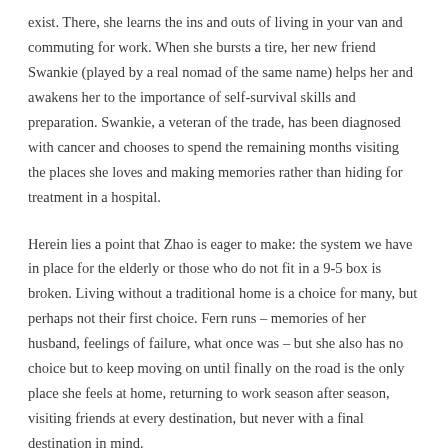exist. There, she learns the ins and outs of living in your van and commuting for work. When she bursts a tire, her new friend Swankie (played by a real nomad of the same name) helps her and awakens her to the importance of self-survival skills and preparation. Swankie, a veteran of the trade, has been diagnosed with cancer and chooses to spend the remaining months visiting the places she loves and making memories rather than hiding for treatment in a hospital.
Herein lies a point that Zhao is eager to make: the system we have in place for the elderly or those who do not fit in a 9-5 box is broken. Living without a traditional home is a choice for many, but perhaps not their first choice. Fern runs – memories of her husband, feelings of failure, what once was – but she also has no choice but to keep moving on until finally on the road is the only place she feels at home, returning to work season after season, visiting friends at every destination, but never with a final destination in mind.
Fern connects with fellow nomad Dave (David Strathairn), and their friendship is interwoven with his travels from Nevada to Wall Drug in